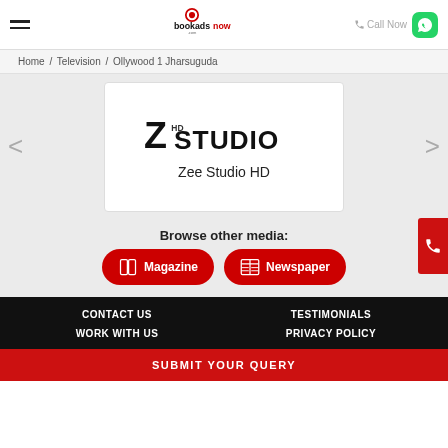bookadsnow.com — Call Now
Home / Television / Ollywood 1 Jharsuguda
[Figure (logo): Zee Studio HD logo with channel name text]
Browse other media:
Magazine
Newspaper
CONTACT US
TESTIMONIALS
WORK WITH US
PRIVACY POLICY
SUBMIT YOUR QUERY